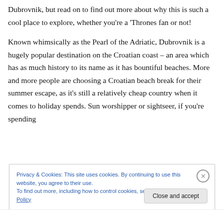Dubrovnik, but read on to find out more about why this is such a cool place to explore, whether you're a 'Thrones fan or not!
Known whimsically as the Pearl of the Adriatic, Dubrovnik is a hugely popular destination on the Croatian coast – an area which has as much history to its name as it has bountiful beaches. More and more people are choosing a Croatian beach break for their summer escape, as it's still a relatively cheap country when it comes to holiday spends. Sun worshipper or sightseer, if you're spending
Privacy & Cookies: This site uses cookies. By continuing to use this website, you agree to their use.
To find out more, including how to control cookies, see here: Cookie Policy